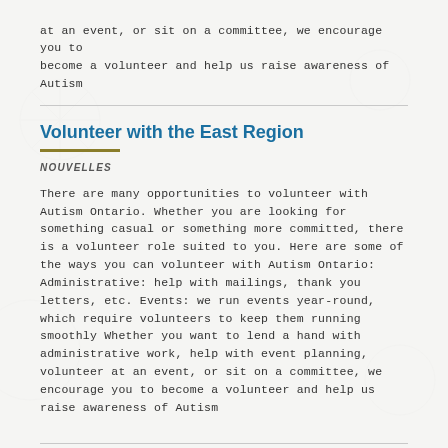at an event, or sit on a committee, we encourage you to become a volunteer and help us raise awareness of Autism
Volunteer with the East Region
NOUVELLES
There are many opportunities to volunteer with Autism Ontario. Whether you are looking for something casual or something more committed, there is a volunteer role suited to you. Here are some of the ways you can volunteer with Autism Ontario: Administrative: help with mailings, thank you letters, etc. Events: we run events year-round, which require volunteers to keep them running smoothly Whether you want to lend a hand with administrative work, help with event planning, volunteer at an event, or sit on a committee, we encourage you to become a volunteer and help us raise awareness of Autism